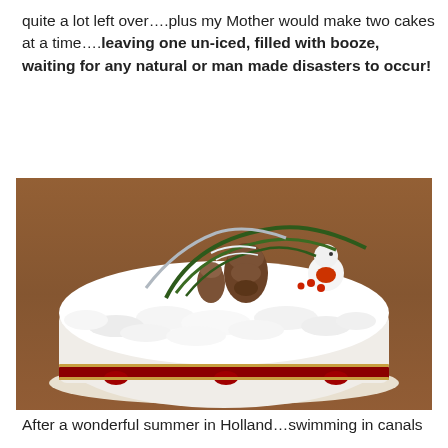quite a lot left over….plus my Mother would make two cakes at a time….leaving one un-iced, filled with booze, waiting for any natural or man made disasters to occur!
[Figure (photo): A Christmas cake decorated with white royal icing roughly textured, topped with festive decorations including pine cones, pine branches, a robin bird figurine, and red ribbon trim around the base, displayed on a wooden table.]
After a wonderful summer in Holland…swimming in canals